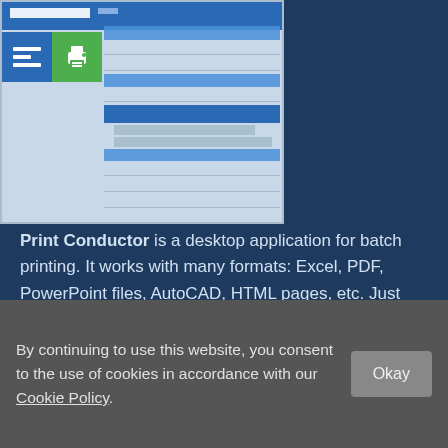[Figure (screenshot): Screenshot of Print Conductor desktop application interface showing a blue header bar, two icon buttons (a blue settings/list icon and a green print icon), and a table/list view with blue header rows and data rows.]
Print Conductor is a desktop application for batch printing. It works with many formats: Excel, PDF, PowerPoint files, AutoCAD, HTML pages, etc. Just add the files to the list, and Print Conductor automates the printing process.
[Figure (screenshot): Teal/cyan 'Learn More' button partially visible]
By continuing to use this website, you consent to the use of cookies in accordance with our Cookie Policy.